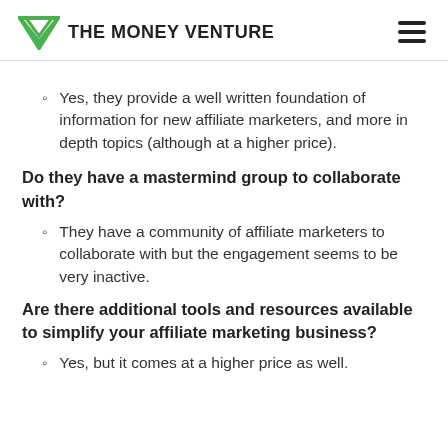THE MONEY VENTURE
Yes, they provide a well written foundation of information for new affiliate marketers, and more in depth topics (although at a higher price).
Do they have a mastermind group to collaborate with?
They have a community of affiliate marketers to collaborate with but the engagement seems to be very inactive.
Are there additional tools and resources available to simplify your affiliate marketing business?
Yes, but it comes at a higher price as well.